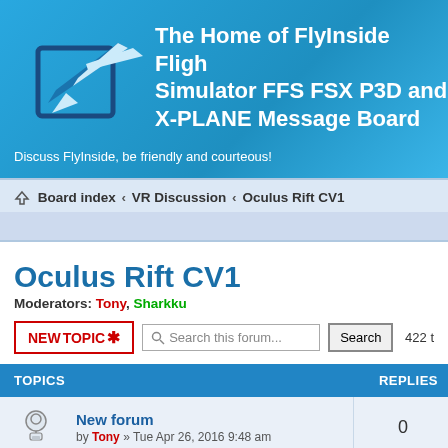The Home of FlyInside Flight Simulator FFS FSX P3D and X-PLANE Message Board
Discuss FlyInside, be friendly and courteous!
Board index « VR Discussion « Oculus Rift CV1
Oculus Rift CV1
Moderators: Tony, Sharkku
| TOPICS | REPLIES |
| --- | --- |
| New forum
by Tony » Tue Apr 26, 2016 9:48 am | 0 |
| FlyInside General Discussion Rules
by admin » Sun May 17, 2015 2:32 pm | 0 |
| Can you change mouse settings so it doesn't sleep? | 3 |